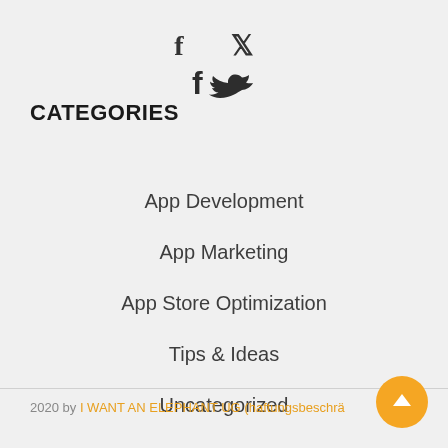[Figure (other): Social media icons: Facebook (f) and Twitter (bird) in dark color, centered at top]
CATEGORIES
App Development
App Marketing
App Store Optimization
Tips & Ideas
Uncategorized
2020 by I WANT AN ELEPHANT UG (haftungsbeschrä…